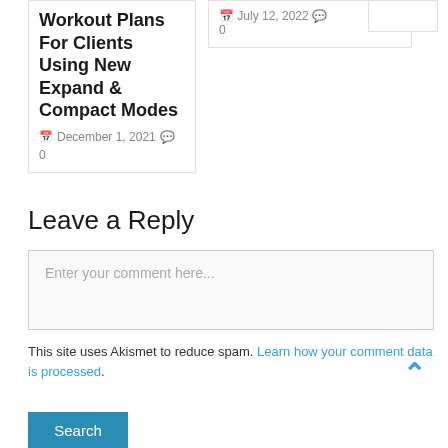Workout Plans For Clients Using New Expand & Compact Modes
December 1, 2021   0
July 12, 2022   0
Leave a Reply
Enter your comment here...
This site uses Akismet to reduce spam. Learn how your comment data is processed.
Search